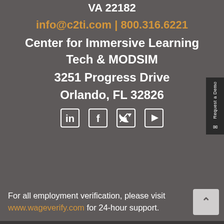VA 22182
info@c2ti.com | 800.316.6221
Center for Immersive Learning Tech & MODSIM
3251 Progress Drive
Orlando, FL 32826
[Figure (infographic): Social media icons: LinkedIn, Facebook, Twitter, YouTube]
For all employment verification, please visit www.wageverify.com for 24-hour support.